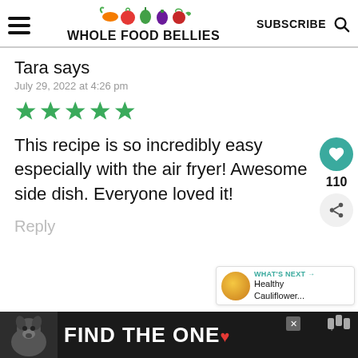WHOLE FOOD BELLIES | SUBSCRIBE
Tara says
July 29, 2022 at 4:26 pm
[Figure (other): Five green star rating icons]
This recipe is so incredibly easy especially with the air fryer! Awesome side dish. Everyone loved it!
Reply
[Figure (infographic): Ad banner: FIND THE ONE with dog image]
[Figure (infographic): What's Next widget: Healthy Cauliflower...]